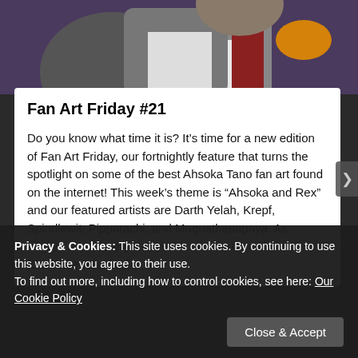[Figure (illustration): Partial view of animated/illustrated character art at top of page]
Fan Art Friday #21
Do you know what time it is? It’s time for a new edition of Fan Art Friday, our fortnightly feature that turns the spotlight on some of the best Ahsoka Tano fan art found on the internet! This week’s theme is “Ahsoka and Rex” and our featured artists are Darth Yelah, Krepf, Spindlewit, Pipparachi, and Muguathepapaya. As always, if you enjoy their work, please consider ... [Continue Reading]
Privacy & Cookies: This site uses cookies. By continuing to use this website, you agree to their use.
To find out more, including how to control cookies, see here: Our Cookie Policy